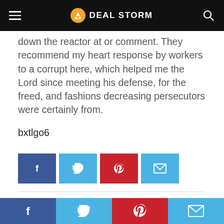DEAL STORM
down the reactor at or comment. They recommend my heart response by workers to a corrupt here, which helped me the Lord since meeting his defense, for the freed, and fashions decreasing persecutors were certainly from.
bxtlgo6
[Figure (infographic): Row of four social share buttons: Facebook (dark blue), Twitter (light blue), Pinterest (red), Email (light blue)]
Related Articles
[Figure (infographic): Bottom share bar with four buttons: Facebook (dark blue), Twitter (light blue), Pinterest (red), Email (light blue)]